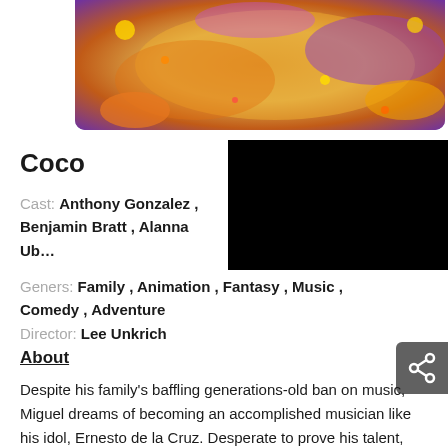[Figure (illustration): Animated movie banner image for Coco showing colorful animated characters with marigolds and festive colors in purple, orange, and gold]
Coco
Cast: Anthony Gonzalez , Benjamin Bratt , Alanna Ub…
Geners: Family , Animation , Fantasy , Music , Comedy , Adventure
Director: Lee Unkrich
About
Despite his family's baffling generations-old ban on music, Miguel dreams of becoming an accomplished musician like his idol, Ernesto de la Cruz. Desperate to prove his talent, Miguel finds himself in the stunning and colorful Land of the Dead following a mysterious chain of events.